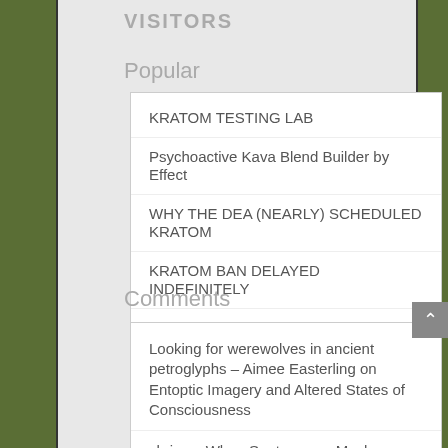VISITORS
Popular
KRATOM TESTING LAB
Psychoactive Kava Blend Builder by Effect
WHY THE DEA (NEARLY) SCHEDULED KRATOM
KRATOM BAN DELAYED INDEFINITELY
Kratom Scheduling – Glimmer of Hope
Comments
Looking for werewolves in ancient petroglyphs – Aimee Easterling on Entoptic Imagery and Altered States of Consciousness
chris on When Santa was a Mushroom: Amanita muscaria and the Origins of Christmas